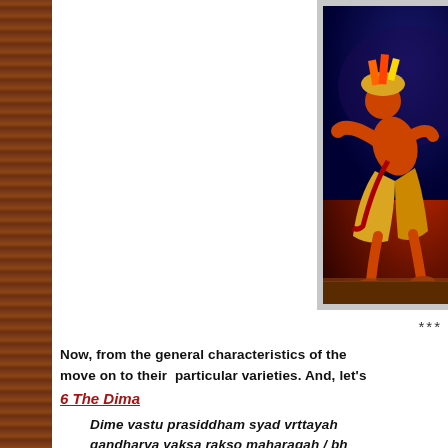[Figure (photo): A classical Indian dancer in elaborate costume — orange body paint, yellow/gold dhoti pants, decorative crown with colored feathers, performing a dramatic pose on a dark stage. A second dancer is partially visible on the right edge.]
***
Now, from the general characteristics of the move on to their particular varieties. And, let's
6 The Dima
Dime vastu prasiddham syad vrttayah gandharva yaksa rakso maharagah / bh